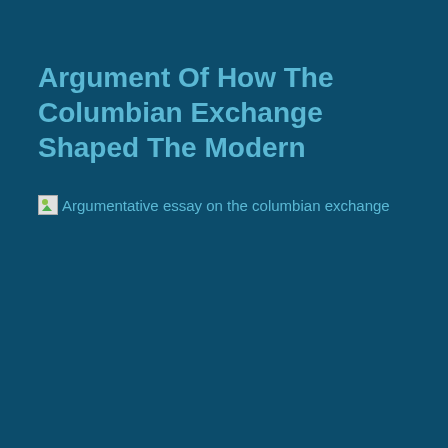Argument Of How The Columbian Exchange Shaped The Modern
[Figure (illustration): Broken image placeholder with alt text: Argumentative essay on the columbian exchange]